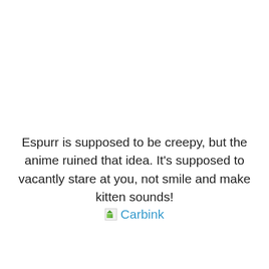Espurr is supposed to be creepy, but the anime ruined that idea. It's supposed to vacantly stare at you, not smile and make kitten sounds!
[Figure (illustration): Broken image placeholder followed by a link labeled 'Carbink' in blue text]